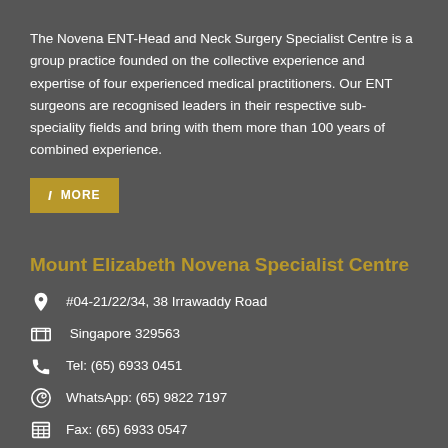The Novena ENT-Head and Neck Surgery Specialist Centre is a group practice founded on the collective experience and expertise of four experienced medical practitioners. Our ENT surgeons are recognised leaders in their respective sub-speciality fields and bring with them more than 100 years of combined experience.
i MORE
Mount Elizabeth Novena Specialist Centre
#04-21/22/34, 38 Irrawaddy Road
Singapore 329563
Tel: (65) 6933 0451
WhatsApp: (65) 9822 7197
Fax: (65) 6933 0547